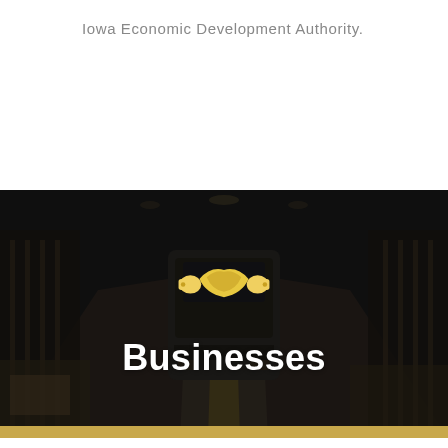Iowa Economic Development Authority.
[Figure (photo): Dark-toned industrial factory/warehouse interior with a large bus being assembled, workers and equipment visible, with a yellow handshake icon overlay and the word 'Businesses' in white text centered over the image.]